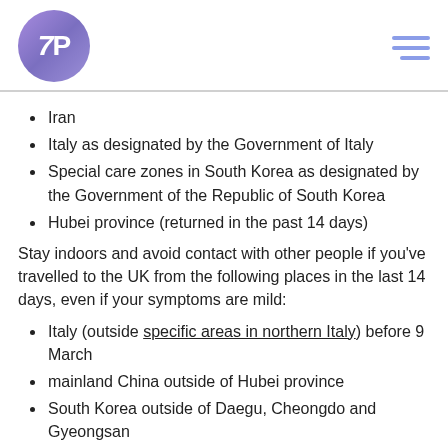[Figure (logo): Circular logo with gradient purple background and white '7P' text, with hamburger menu icon on the right]
Iran
Italy as designated by the Government of Italy
Special care zones in South Korea as designated by the Government of the Republic of South Korea
Hubei province (returned in the past 14 days)
Stay indoors and avoid contact with other people if you've travelled to the UK from the following places in the last 14 days, even if your symptoms are mild:
Italy (outside specific areas in northern Italy) before 9 March
mainland China outside of Hubei province
South Korea outside of Daegu, Cheongdo and Gyeongsan